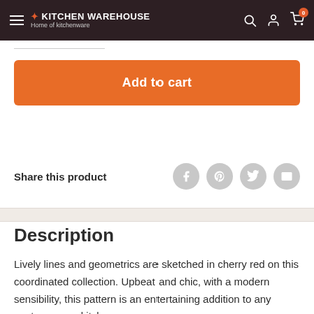The Kitchen Warehouse — Home of kitchenware
[Figure (screenshot): Navigation bar with hamburger menu, Kitchen Warehouse logo, search icon, account icon, and cart icon with badge showing 0]
Add to cart
Share this product
Description
Lively lines and geometrics are sketched in cherry red on this coordinated collection. Upbeat and chic, with a modern sensibility, this pattern is an entertaining addition to any contemporary kitchen